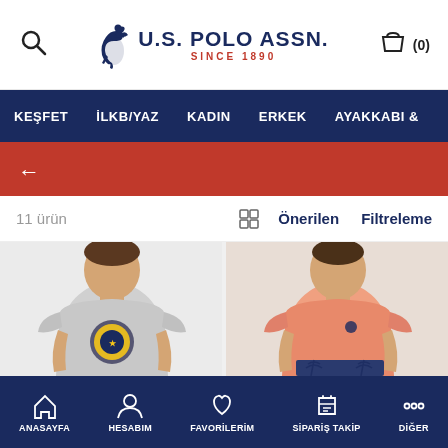[Figure (screenshot): U.S. Polo Assn. e-commerce mobile app screenshot showing product listing page with navigation header, red back bar, product count filter bar, two male model product photos (grey t-shirt with graphic and salmon/peach t-shirt), and bottom navigation bar.]
U.S. POLO ASSN. SINCE 1890
KEŞFET  İLKB/YAZ  KADIN  ERKEK  AYAKKABI &
11 ürün   Önerilen   Filtreleme
ANASAYFA  HESABIM  FAVORİLERİM  SİPARİŞ TAKİP  DİĞER